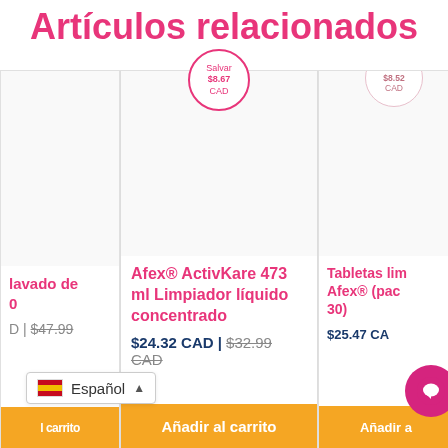Artículos relacionados
[Figure (screenshot): Product card - left (partially visible): product name partially visible 'lavado de ...o', price '| $47.99', add to cart button partially visible]
[Figure (screenshot): Product card - center: Save badge '$8.67 CAD', product image area, product name 'Afex® ActivKare 473 ml Limpiador líquido concentrado', price '$24.32 CAD | $32.99 CAD' (struck through), 'Añadir al carrito' button]
[Figure (screenshot): Product card - right (partially visible): Save badge '$8.52 CAD', product name partially visible 'Tabletas lim... Afex® (pac... 30)', price '$25.47 CA...' partially visible, 'Añadir al...' button]
Español (language selector with Spanish flag and dropdown arrow)